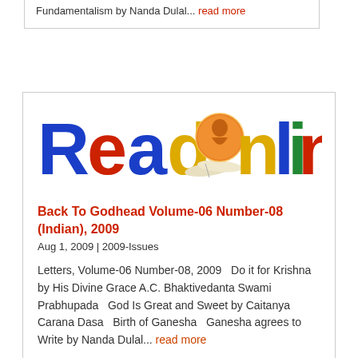Fundamentalism by Nanda Dulal... read more
[Figure (logo): Read Online logo with colorful letters R-e-a-d in blue/red/blue/yellow, an open book graphic, a circular image of a spiritual figure, and 'nline' in yellow/blue/green/red/green/blue letters]
Back To Godhead Volume-06 Number-08 (Indian), 2009
Aug 1, 2009 | 2009-Issues
Letters, Volume-06 Number-08, 2009   Do it for Krishna by His Divine Grace A.C. Bhaktivedanta Swami Prabhupada   God Is Great and Sweet by Caitanya Carana Dasa   Birth of Ganesha   Ganesha agrees to Write by Nanda Dulal... read more